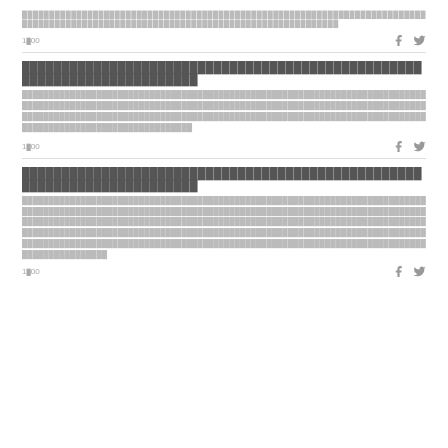█████████████████████████████████████████████████████████████████████████████████████████████████████
1█00
████████████████████████████████████████████████████████████████████████████████████████████████████████████████████████████████████████████████████████████████████████████████████████████████████████████
1█00
████████████████████████████████████████████████████████████████████████████████████████████
████████████████████████████████████████████████████████████████████████████████████████████████████████████████████████████████████████████████████████████████████████████████████████████████████████████
1█00
████████████████████████████████████████████████████████████████████████████████████████████
███████████████████████████████████████████████████████████████████████████████████████████████████████████████████████████████████████████████████████████████████████████████████████████████████████████████████████████████████████████████████████
1█00